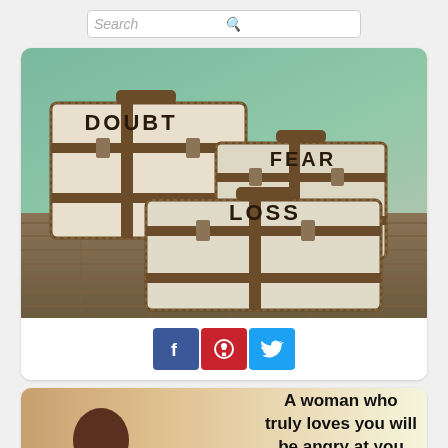[Figure (screenshot): Search bar at top of mobile app screen with placeholder text 'Search' and a magnifying glass icon]
[Figure (photo): Three vintage white suitcases stacked on wooden floor, labeled DOUBT, FEAR, and LOSS respectively, with a green teal background]
[Figure (infographic): Social share buttons: Facebook (blue, f), Pinterest (red, p), Twitter (blue, bird icon)]
[Figure (photo): Second card showing a woman's silhouette on left and quote text: 'A woman who truly loves you will be angry at you for so many things but' on yellow-cream background]